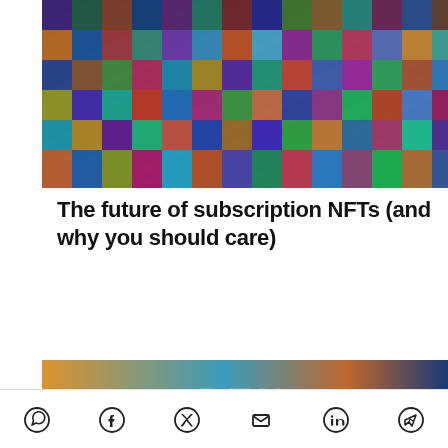[Figure (photo): Colorful NFT art mosaic collage showing many digital artworks and illustrations]
The future of subscription NFTs (and why you should care)
[Figure (photo): Banner image with graffiti-style background and overlay label reading PRODUCT MANAGEMENT & GROWTH]
PRODUCT MANAGEMENT & GROWTH
[Figure (infographic): Social sharing icons row: WhatsApp, Facebook, Twitter, Email, LinkedIn, Telegram]